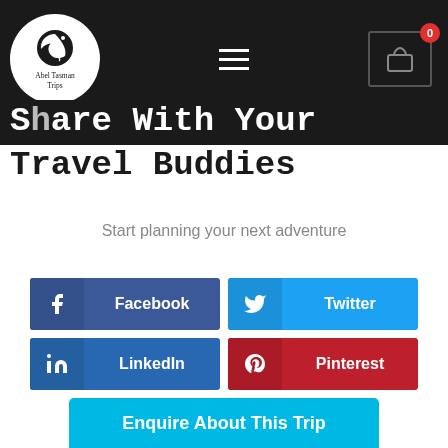[Figure (logo): Abel Tasman Trips logo - white circle with moon/crescent icon and text 'Abel Tasman Trips' on dark header background with hamburger menu and cart icon showing 0]
Share With Your Travel Buddies
Start planning your next adventure
[Figure (infographic): Four social share buttons: Facebook (dark blue), Twitter (light blue), LinkedIn (dark blue), Pinterest (dark red)]
Enquire About This Trip